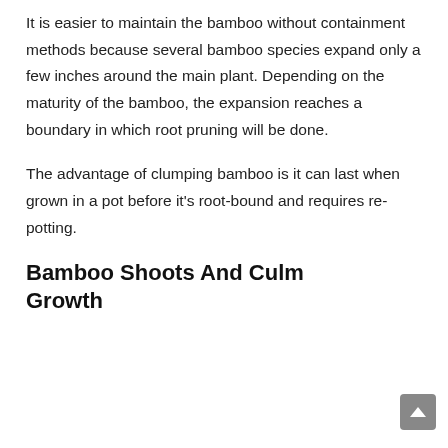It is easier to maintain the bamboo without containment methods because several bamboo species expand only a few inches around the main plant. Depending on the maturity of the bamboo, the expansion reaches a boundary in which root pruning will be done.
The advantage of clumping bamboo is it can last when grown in a pot before it's root-bound and requires re-potting.
Bamboo Shoots And Culm Growth